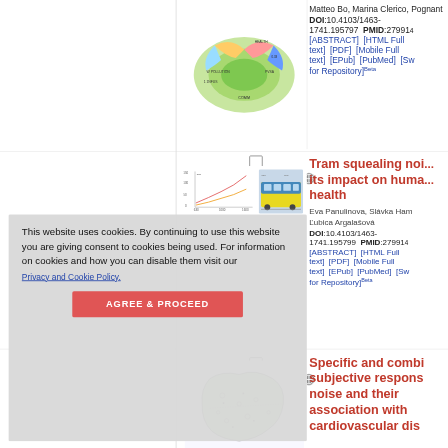[Figure (other): Colored diagram/chart thumbnail for first article, partially visible at top]
Matteo Bo, Marina Clerico, Pognant DOI:10.4103/1463-1741.195797 PMID:27991... [ABSTRACT] [HTML Full text] [PDF] [Mobile Full text] [EPub] [PubMed] [Sw... for Repository]Beta
[Figure (other): Thumbnail for second article about tram squealing noise - shows line chart and tram photo]
Tram squealing noise and its impact on human health
Eva Panulinova, Slávka Ham... Ľubica Argalašová DOI:10.4103/1463-1741.195799 PMID:27991... [ABSTRACT] [HTML Full text] [PDF] [Mobile Full text] [EPub] [PubMed] [Sw... for Repository]Beta
[Figure (other): Thumbnail for third article about specific and combined subjective responses]
Specific and combined subjective responses to noise and their association with cardiovascular dis...
This website uses cookies. By continuing to use this website you are giving consent to cookies being used. For information on cookies and how you can disable them visit our Privacy and Cookie Policy. AGREE & PROCEED